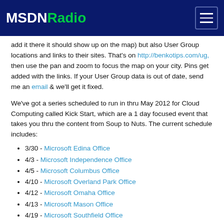MSDNRadio
add it there it should show up on the map) but also User Group locations and links to their sites. That's on http://benkotips.com/ug, then use the pan and zoom to focus the map on your city. Pins get added with the links. If your User Group data is out of date, send me an email & we'll get it fixed.
We've got a series scheduled to run in thru May 2012 for Cloud Computing called Kick Start, which are a 1 day focused event that takes you thru the content from Soup to Nuts. The current schedule includes:
3/30 - Microsoft Edina Office
4/3 - Microsoft Independence Office
4/5 - Microsoft Columbus Office
4/10 - Microsoft Overland Park Office
4/12 - Microsoft Omaha Office
4/13 - Microsoft Mason Office
4/19 - Microsoft Southfield Office
4/25 - Microsoft Houston Office
5/1 - Microsoft Creve Coeur Office
5/1 - Microsoft Downers Grove Office